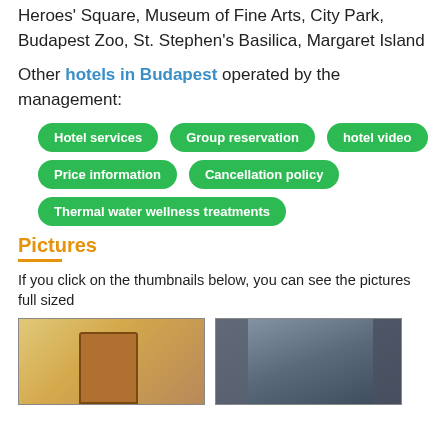Heroes' Square, Museum of Fine Arts, City Park, Budapest Zoo, St. Stephen's Basilica, Margaret Island
Other hotels in Budapest operated by the management:
Hotel services
Group reservation
hotel video
Price information
Cancellation policy
Thermal water wellness treatments
Pictures
If you click on the thumbnails below, you can see the pictures full sized
[Figure (photo): Two hotel room thumbnail photos]
[Figure (photo): Hotel bathroom thumbnail photo]